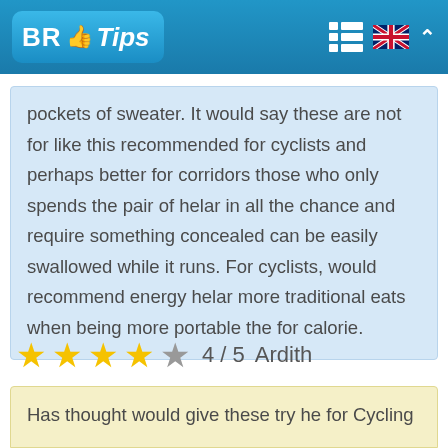BR Tips
pockets of sweater. It would say these are not for like this recommended for cyclists and perhaps better for corridors those who only spends the pair of helar in all the chance and require something concealed can be easily swallowed while it runs. For cyclists, would recommend energy helar more traditional eats when being more portable the for calorie.
4 / 5   Ardith
Has thought would give these try he for Cycling